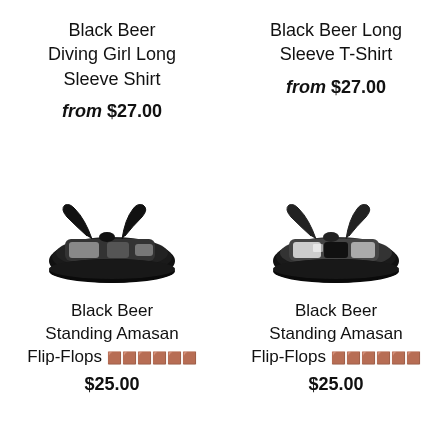Black Beer Diving Girl Long Sleeve Shirt
from $27.00
Black Beer Long Sleeve T-Shirt
from $27.00
[Figure (photo): Black flip-flop sandals with graphic print strap, viewed from above at an angle]
Black Beer Standing Amasan Flip-Flops 🟫🟫🟫🟫🟫🟫
$25.00
[Figure (photo): Black and white flip-flop sandals with graphic print strap, viewed from above at an angle]
Black Beer Standing Amasan Flip-Flops 🟫🟫🟫🟫🟫🟫
$25.00